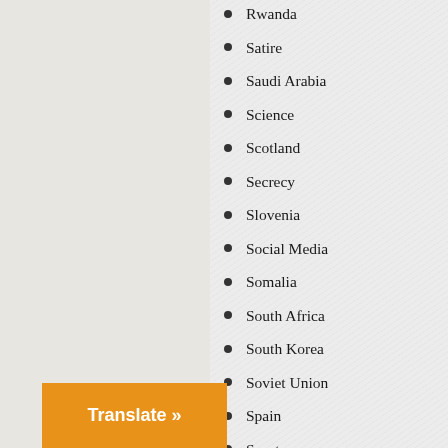Rwanda
Satire
Saudi Arabia
Science
Scotland
Secrecy
Slovenia
Social Media
Somalia
South Africa
South Korea
Soviet Union
Spain
Sport
Spring Fund Drive
Sudan
Summer Fund Drive
Surveillance
Susan Williams